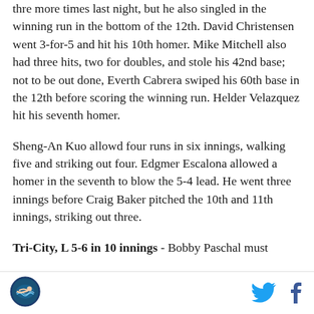thre more times last night, but he also singled in the winning run in the bottom of the 12th. David Christensen went 3-for-5 and hit his 10th homer. Mike Mitchell also had three hits, two for doubles, and stole his 42nd base; not to be out done, Everth Cabrera swiped his 60th base in the 12th before scoring the winning run. Helder Velazquez hit his seventh homer.
Sheng-An Kuo allowd four runs in six innings, walking five and striking out four. Edgmer Escalona allowed a homer in the seventh to blow the 5-4 lead. He went three innings before Craig Baker pitched the 10th and 11th innings, striking out three.
Tri-City, L 5-6 in 10 innings - Bobby Paschal must
[Figure (logo): Circular logo with swimmer illustration]